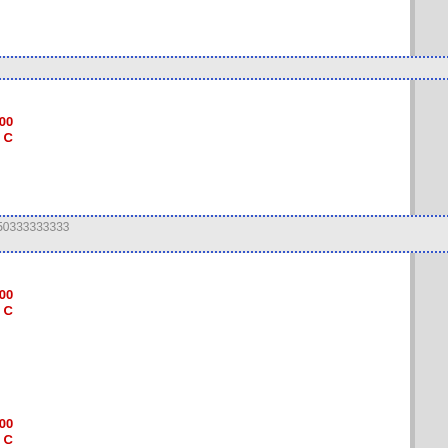History : 20
196.3 KB
2330    0
ffffffffffffffff
ffffffffffff
admin    200
17:21:01    PENTAX C    PENTAX K10D
History : 20
207.2 KB
2409    0
fff2009fffffffffffff50fffffffff ff
IMGP8482
admin    200
17:20:57    PENTAX C    PENTAX K10D
History : 2
15:07    164.2 KB
2286    0
IMGP8481
admin    200
17:20:49    PENTAX C    PENTAX K10D